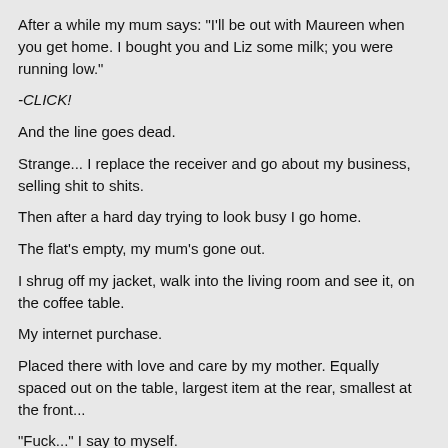After a while my mum says: "I'll be out with Maureen when you get home. I bought you and Liz some milk; you were running low."
-CLICK!
And the line goes dead.
Strange... I replace the receiver and go about my business, selling shit to shits.
Then after a hard day trying to look busy I go home.
The flat's empty, my mum's gone out.
I shrug off my jacket, walk into the living room and see it, on the coffee table.
My internet purchase.
Placed there with love and care by my mother. Equally spaced out on the table, largest item at the rear, smallest at the front...
"Fuck..." I say to myself.
As I suddenly recall sitting at my computer the previous week and ordering the multi speed black mamba with realistic veiny finish, topped with a HUGE fucking bell end (in the hope that Liz would find it sexy, rip her cloths off and sit on the fucker), the black PVC hotpants, the pair of fluffy pink handcuffs, and the complimentary five-inch butt plug I received as a free gift for spending over thirty quid...
All - arranged - with - loving - tender - care - on - the - coffee - table - by - my